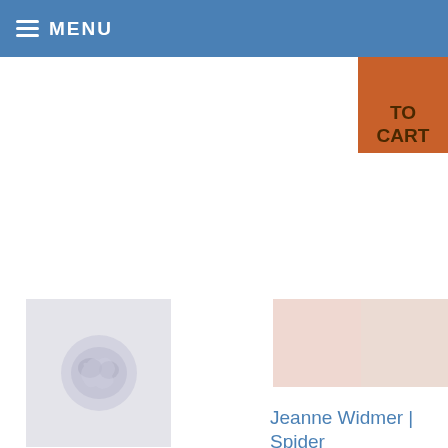MENU
[Figure (screenshot): Partial orange ADD TO CART button visible at top right]
[Figure (photo): Product photo: brain-like ball of string on grey background]
David Sokosh | Ball of String
$500.00
ADD TO CART
[Figure (photo): Product photo: Jeanne Widmer Spider - two tile images in pinkish tones]
Jeanne Widmer | Spider
$400.00
ADD TO CART
[Figure (screenshot): Google reCAPTCHA widget with Privacy and Terms links]